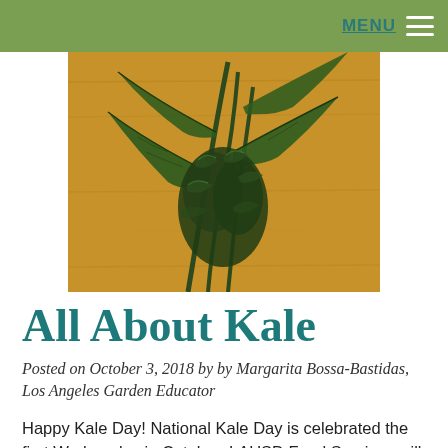MENU
[Figure (photo): Close-up photo of dark kale leaves on a wooden cutting board surface]
All About Kale
Posted on October 3, 2018 by by Margarita Bossa-Bastidas, Los Angeles Garden Educator
Happy Kale Day! National Kale Day is celebrated the first Wednesday in October. LAUSD Food Services will be providing their middle schools with a kale recipe but you too can celebrate! Read below to learn more about this superfood and find recipes and resources to celebrate